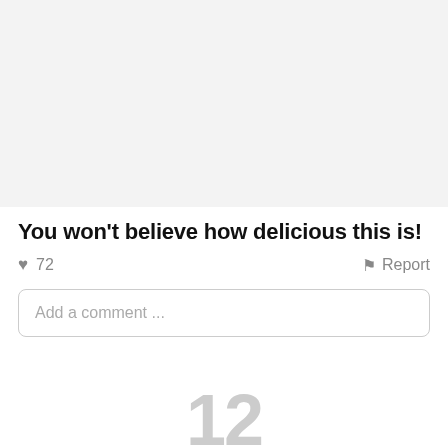[Figure (photo): Gray placeholder image area at the top of the page]
You won't believe how delicious this is!
♥ 72   Report
Add a comment ...
12